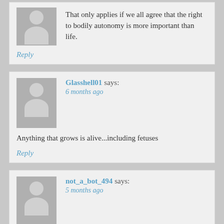That only applies if we all agree that the right to bodily autonomy is more important than life.
Reply
Glasshell01 says:
6 months ago
Anything that grows is alive...including fetuses
Reply
not_a_bot_494 says:
5 months ago
Your point?
Reply